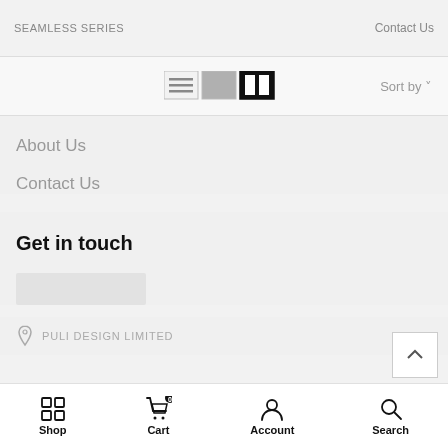SEAMLESS SERIES   Contact Us
[Figure (screenshot): View toggle icons (list view, grid view, two-column view) and Sort by dropdown]
About Us
Contact Us
Get in touch
[Figure (screenshot): Input field placeholder (light grey rectangle)]
PULI DESIGN LIMITED
Shop   Cart   Account   Search